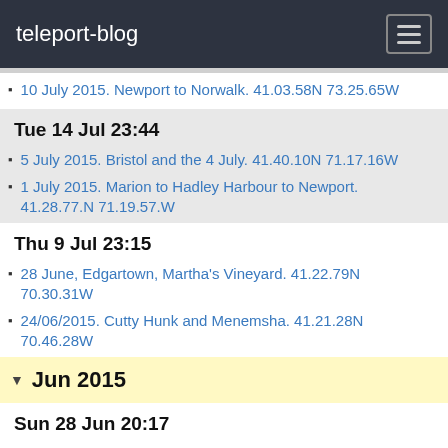teleport-blog
10 July 2015. Newport to Norwalk. 41.03.58N 73.25.65W
Tue 14 Jul 23:44
5 July 2015. Bristol and the 4 July. 41.40.10N 71.17.16W
1 July 2015. Marion to Hadley Harbour to Newport. 41.28.77.N 71.19.57.W
Thu 9 Jul 23:15
28 June, Edgartown, Martha's Vineyard. 41.22.79N 70.30.31W
24/06/2015. Cutty Hunk and Menemsha. 41.21.28N 70.46.28W
Jun 2015
Sun 28 Jun 20:17
22/06/2015. Shelter Island. 41.05.18N 72.21.03W
Thu 25 Jun 23:11
18/06/2015. Block Island. 41.11.44N 71.34.71W
Sat 20 Jun 23:24
14/6/2015. Cape Cod and Provincetown. 42.01.86N 70.10.69W
10/6/2015. Cape Cod Canal to Plymouth. 41.57.46N 70.39.57W